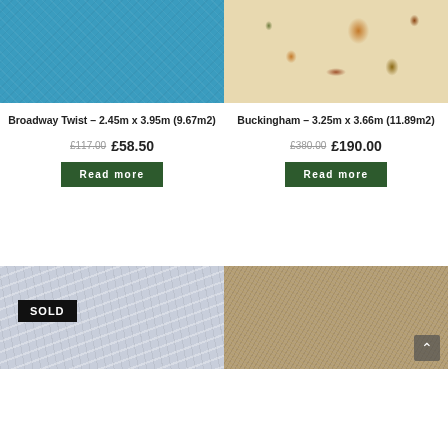[Figure (photo): Blue textured carpet/fabric product image]
[Figure (photo): Cream floral patterned rug/carpet product image]
Broadway Twist – 2.45m x 3.95m (9.67m2)
Buckingham – 3.25m x 3.66m (11.89m2)
£117.00  £58.50
£380.00  £190.00
Read more
Read more
[Figure (photo): Silver/grey fabric carpet with SOLD badge overlay]
[Figure (photo): Beige/tan textured carpet product image]